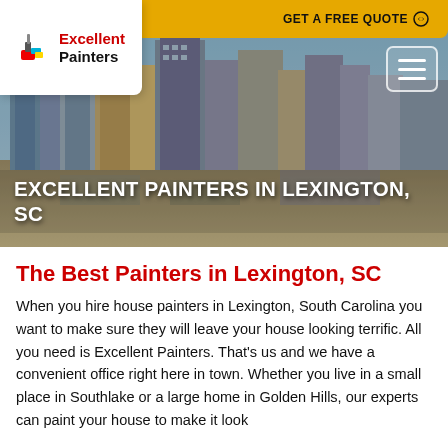[Figure (screenshot): Website header with orange top bar showing phone number 1-888-521-1781 and GET A FREE QUOTE, Excellent Painters logo on white background, hamburger menu button]
[Figure (photo): Aerial view of Lexington SC city skyline and downtown buildings]
EXCELLENT PAINTERS IN LEXINGTON, SC
The Best Painters in Lexington, SC
When you hire house painters in Lexington, South Carolina you want to make sure they will leave your house looking terrific. All you need is Excellent Painters. That's us and we have a convenient office right here in town. Whether you live in a small place in Southlake or a large home in Golden Hills, our experts can paint your house to make it look